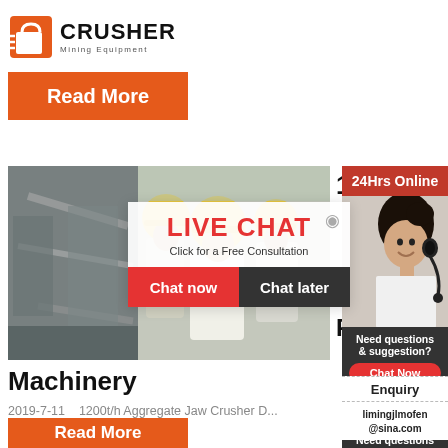[Figure (logo): Crusher Mining Equipment logo with shopping bag icon and bold text]
Read More
[Figure (photo): Industrial machinery / aggregate jaw crusher site on left, workers in yellow hard hats on right]
1200t
LIVE CHAT
Click for a Free Consultation
Chat now
Chat later
FTM
[Figure (photo): Sidebar: 24Hrs Online banner with customer service representative photo]
24Hrs Online
Need questions & suggestion?
Chat Now
Enquiry
limingjlmofen@sina.com
Machinery
2019-7-11    1200t/h Aggregate Jaw Crusher D...
Read More